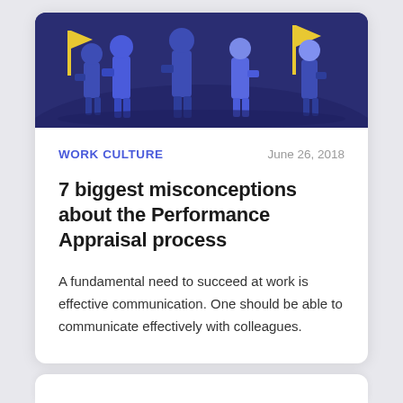[Figure (illustration): Dark blue illustrated banner showing silhouetted figures of people at work with yellow flag/lightning bolt accents on a dark navy background]
WORK CULTURE   June 26, 2018
7 biggest misconceptions about the Performance Appraisal process
A fundamental need to succeed at work is effective communication. One should be able to communicate effectively with colleagues.